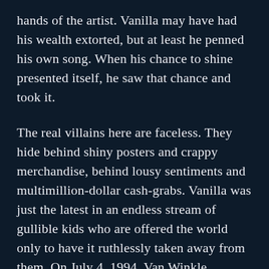hands of the artist. Vanilla may have had his wealth extorted, but at least he penned his own song. When his chance to shine presented itself, he saw that chance and took it.
The real villains here are faceless. They hide behind shiny posters and crappy merchandise, behind lousy sentiments and multimillion-dollar cash-grabs. Vanilla was just the latest in an endless stream of gullible kids who are offered the world only to have it ruthlessly taken away from them. On July 4, 1994, Van Winkle survived a heroin overdose-come-suicide attempt long after the vultures had fled, which